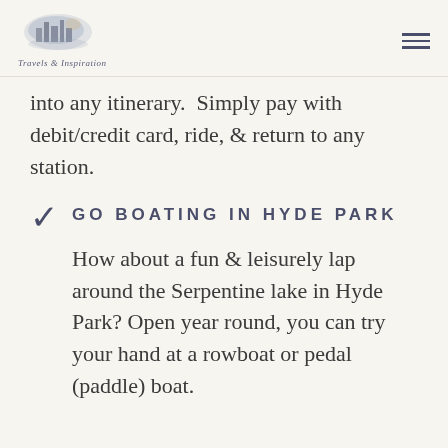Travels & Inspiration
into any itinerary.  Simply pay with debit/credit card, ride, & return to any station.
GO BOATING IN HYDE PARK
How about a fun & leisurely lap around the Serpentine lake in Hyde Park? Open year round, you can try your hand at a rowboat or pedal (paddle) boat.